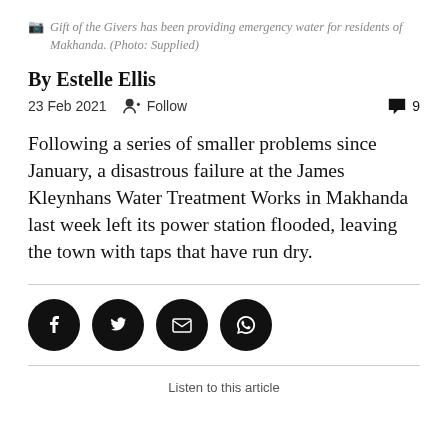Gift of the Givers has been providing emergency water for residents of Makhanda. (Photo: Supplied)
By Estelle Ellis
23 Feb 2021   Follow   9
Following a series of smaller problems since January, a disastrous failure at the James Kleynhans Water Treatment Works in Makhanda last week left its power station flooded, leaving the town with taps that have run dry.
[Figure (other): Social media share icons: Facebook, Twitter, Email, WhatsApp]
Listen to this article